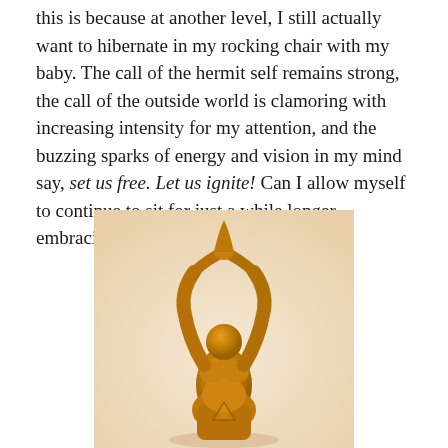this is because at another level, I still actually want to hibernate in my rocking chair with my baby. The call of the hermit self remains strong, the call of the outside world is clamoring with increasing intensity for my attention, and the buzzing sparks of energy and vision in my mind say, set us free. Let us ignite! Can I allow myself to continue to sit for just a while longer, embracing possibility?
[Figure (photo): A golden goddess figurine in a yoga-like pose with arms raised and hands together overhead, featuring a Celtic triquetra symbol on the torso, photographed against a warm beige background.]